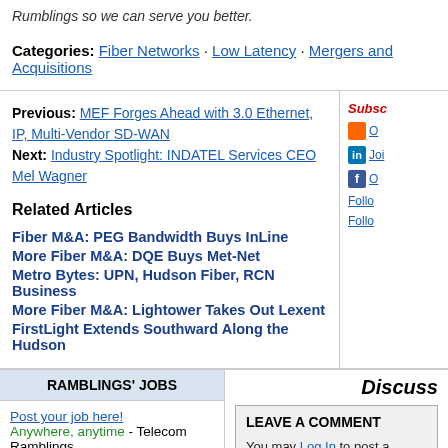Rumblings so we can serve you better.
Categories: Fiber Networks · Low Latency · Mergers and Acquisitions
Previous: MEF Forges Ahead with 3.0 Ethernet, IP, Multi-Vendor SD-WAN
Next: Industry Spotlight: INDATEL Services CEO Mel Wagner
Related Articles
Fiber M&A: PEG Bandwidth Buys InLine
More Fiber M&A: DQE Buys Met-Net
Metro Bytes: UPN, Hudson Fiber, RCN Business
More Fiber M&A: Lightower Takes Out Lexent
FirstLight Extends Southward Along the Hudson
Subsc
O
Joi
O
Follo
Follo
RAMBLINGS' JOBS
Post your job here!
Anywhere, anytime - Telecom Ramblings
Post a Job - Just $99/30days
EVENT CALENDAR
Today
Discuss
LEAVE A COMMENT
You may Log In to post a comment, or fill i anonymously.